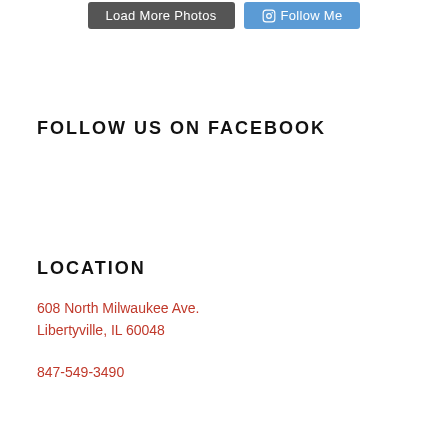[Figure (screenshot): Two buttons side by side: 'Load More Photos' (dark grey) and an Instagram 'Follow Me' button (blue)]
FOLLOW US ON FACEBOOK
LOCATION
608 North Milwaukee Ave.
Libertyville, IL 60048
847-549-3490